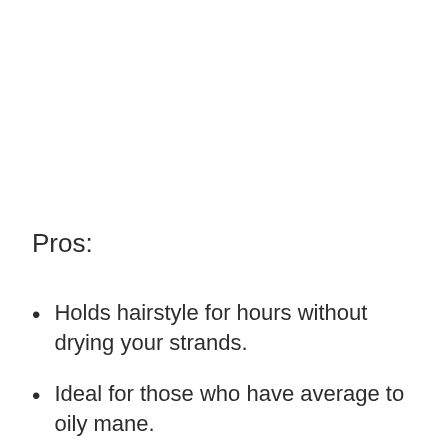Pros:
Holds hairstyle for hours without drying your strands.
Ideal for those who have average to oily mane.